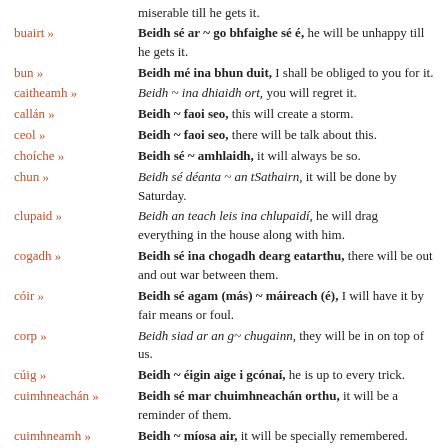miserable till he gets it.
buairt » Beidh sé ar ~ go bhfaighe sé é, he will be unhappy till he gets it.
bun » Beidh mé ina bhun duit, I shall be obliged to you for it.
caitheamh » Beidh ~ ina dhiaidh ort, you will regret it.
callán » Beidh ~ faoi seo, this will create a storm.
ceol » Beidh ~ faoi seo, there will be talk about this.
choíche » Beidh sé ~ amhlaidh, it will always be so.
chun » Beidh sé déanta ~ an tSathairn, it will be done by Saturday.
clupaid » Beidh an teach leis ina chlupaidí, he will drag everything in the house along with him.
cogadh » Beidh sé ina chogadh dearg eatarthu, there will be out and out war between them.
cóir » Beidh sé agam (más) ~ máireach (é), I will have it by fair means or foul.
corp » Beidh siad ar an g~ chugainn, they will be in on top of us.
cúig » Beidh ~ éigin aige i gcónaí, he is up to every trick.
cuimhneachán » Beidh sé mar chuimhneachán orthu, it will be a reminder of them.
cuimhneamh » Beidh ~ míosa air, it will be specially remembered.